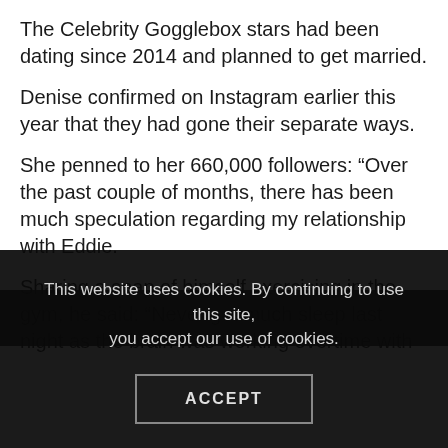The Celebrity Gogglebox stars had been dating since 2014 and planned to get married.
Denise confirmed on Instagram earlier this year that they had gone their separate ways.
She penned to her 660,000 followers: “Over the past couple of months, there has been much speculation regarding my relationship with Eddie.
Sharing a snap of himself exercising in the gym, he said: “Never got much sleep last night as the brain was working overtime with this nonsense.
This website uses cookies. By continuing to use this site, you accept our use of cookies.
ACCEPT